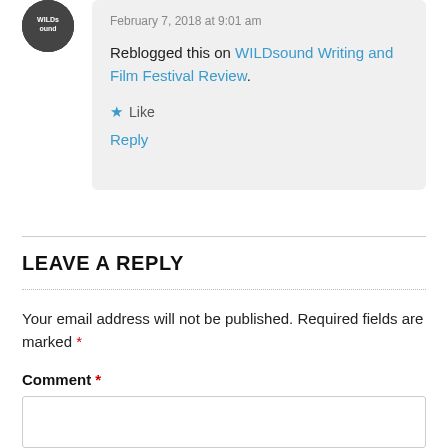February 7, 2018 at 9:01 am
Reblogged this on WILDsound Writing and Film Festival Review.
Like
Reply
LEAVE A REPLY
Your email address will not be published. Required fields are marked *
Comment *